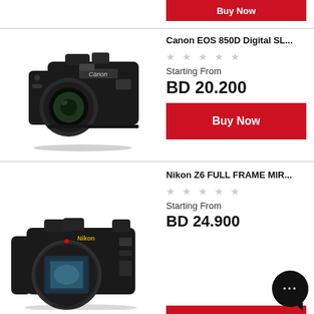[Figure (other): Red Buy Now button (top, partially visible)]
[Figure (photo): Canon EOS 850D Digital SLR camera with lens, black body]
Canon EOS 850D Digital SL...
★ ★ ★ ★ ★
Starting From
BD 20.200
[Figure (other): Red Buy Now button]
[Figure (photo): Nikon Z6 FULL FRAME mirrorless camera, black body, no lens]
Nikon Z6 FULL FRAME MIR...
★ ★ ★ ★ ★
Starting From
BD 24.900
[Figure (other): Red Buy Now button (bottom, partially visible)]
[Figure (other): Black circular chat bubble icon with three dots]